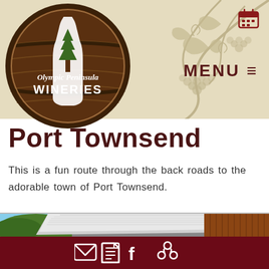[Figure (logo): Olympic Peninsula Wineries logo — white wine bottle with tree inside a wooden barrel circle, text 'Olympic Peninsula WINERIES' in white]
[Figure (illustration): Decorative grape vine and leaves watermark in muted tan/olive tones on the header background]
[Figure (illustration): Calendar icon in dark red at top right of header]
MENU ≡
Port Townsend
This is a fun route through the back roads to the adorable town of Port Townsend.
[Figure (photo): Photo of a rustic wooden barn building with a corrugated metal roof, green trees in background, and partial view of a wine barrel in the lower right corner with text 'solemount']
[Figure (illustration): Footer bar with social/share icons: envelope (email), notepad, Facebook f, and share/network icon, all in white on dark red background]